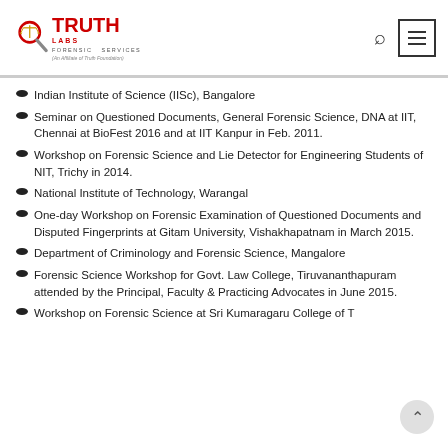Truth Labs Forensic Services — (An Affiliate of Truth Foundation)
Indian Institute of Science (IISc), Bangalore
Seminar on Questioned Documents, General Forensic Science, DNA at IIT, Chennai at BioFest 2016 and at IIT Kanpur in Feb. 2011.
Workshop on Forensic Science and Lie Detector for Engineering Students of NIT, Trichy in 2014.
National Institute of Technology, Warangal
One-day Workshop on Forensic Examination of Questioned Documents and Disputed Fingerprints at Gitam University, Vishakhapatnam in March 2015.
Department of Criminology and Forensic Science, Mangalore
Forensic Science Workshop for Govt. Law College, Tiruvananthapuram attended by the Principal, Faculty & Practicing Advocates in June 2015.
Workshop on Forensic Science at Sri Kumaragaru College of Technology, Coimbatore in Feb. 2013.